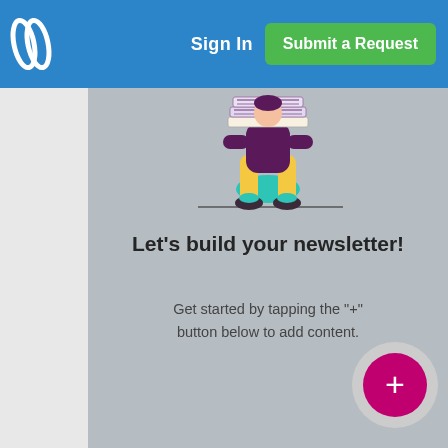Sign In  Submit a Request
[Figure (illustration): Illustration of a person sitting and holding a stack of papers/newspapers, with yellow pants and dark shoes, teal shoes visible]
Let’s build your newsletter!
Get started by tapping the “+” button below to add content.
[Figure (other): Pink/magenta circular FAB (Floating Action Button) with a white ‘+’ icon, inside a light gray circular shadow]